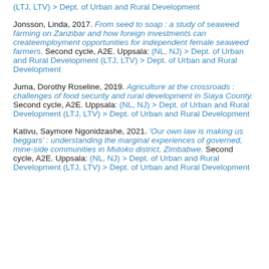(LTJ, LTV) > Dept. of Urban and Rural Development
Jonsson, Linda, 2017. From seed to soap : a study of seaweed farming on Zanzibar and how foreign investments can createemployment opportunities for independent female seaweed farmers. Second cycle, A2E. Uppsala: (NL, NJ) > Dept. of Urban and Rural Development (LTJ, LTV) > Dept. of Urban and Rural Development
Juma, Dorothy Roseline, 2019. Agriculture at the crossroads : challenges of food security and rural development in Siaya County. Second cycle, A2E. Uppsala: (NL, NJ) > Dept. of Urban and Rural Development (LTJ, LTV) > Dept. of Urban and Rural Development
Kativu, Saymore Ngonidzashe, 2021. 'Our own law is making us beggars' : understanding the marginal experiences of governed, mine-side communities in Mutoko district, Zimbabwe. Second cycle, A2E. Uppsala: (NL, NJ) > Dept. of Urban and Rural Development (LTJ, LTV) > Dept. of Urban and Rural Development